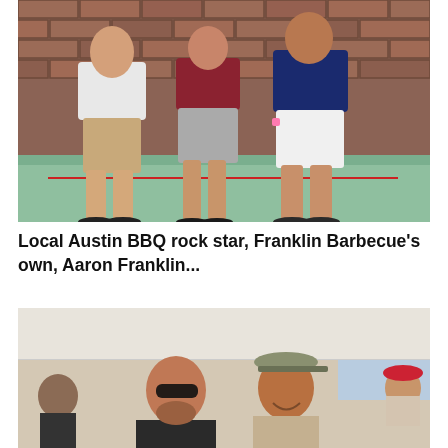[Figure (photo): Three people posing together in front of a brick wall outdoors. Person on left in white shirt and khaki shorts, person in middle in maroon top and grey skirt, person on right in navy blue shirt and white shorts. All wearing flip flops. Green/teal floor.]
Local Austin BBQ rock star, Franklin Barbecue's own, Aaron Franklin...
[Figure (photo): Two men smiling under a white tent at an outdoor event. Man on left wearing sunglasses and dark shirt, man on right wearing a cap and lighter shirt. Crowd visible in background.]